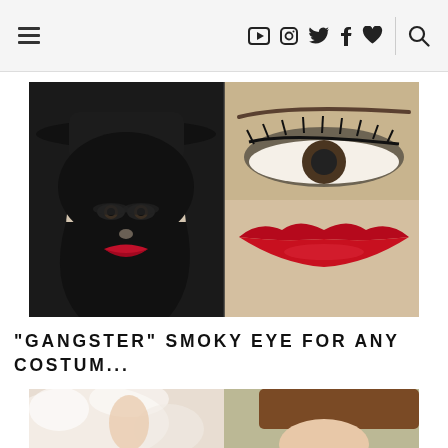≡  ▶  📷  🐦  f  ♥  🔍
[Figure (photo): A woman wearing a black hat with dark smoky eye makeup and red lips on the left, and a close-up of a dramatic smoky eye and glossy red lips on the right, against a dark background.]
"GANGSTER" SMOKY EYE FOR ANY COSTUM...
[Figure (photo): Partial view of a person with light skin and brown hair, wearing what appears to be a white fluffy costume or garment.]